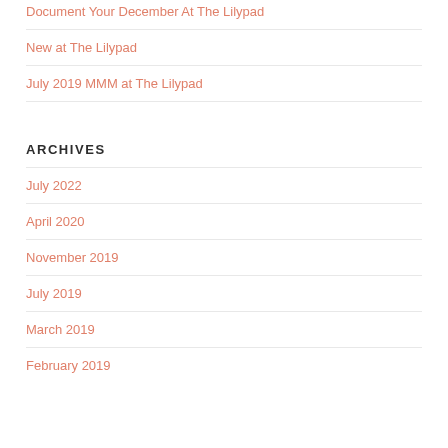Document Your December At The Lilypad
New at The Lilypad
July 2019 MMM at The Lilypad
ARCHIVES
July 2022
April 2020
November 2019
July 2019
March 2019
February 2019